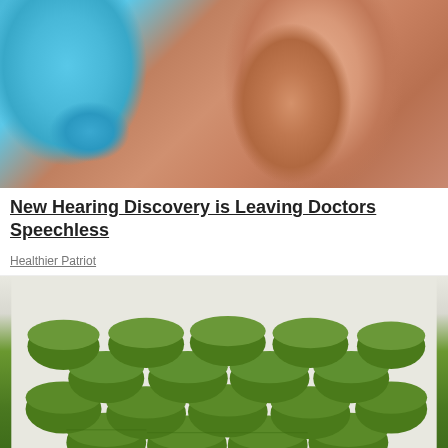[Figure (photo): Close-up photo of an ear cleaning procedure — a hand holding a blue bulb syringe with a white tip being inserted into a person's ear. The side of a person's head showing the ear is visible.]
New Hearing Discovery is Leaving Doctors Speechless
Healthier Patriot
[Figure (photo): A pile of green round tablets/pills photographed against a light background.]